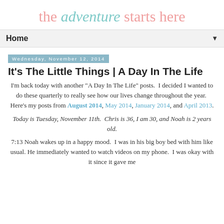the adventure starts here
Home ▼
Wednesday, November 12, 2014
It's The Little Things | A Day In The Life
I'm back today with another "A Day In The Life" posts.  I decided I wanted to do these quarterly to really see how our lives change throughout the year.  Here's my posts from August 2014, May 2014, January 2014, and April 2013.
Today is Tuesday, November 11th.  Chris is 36, I am 30, and Noah is 2 years old.
7:13 Noah wakes up in a happy mood.  I was in his big boy bed with him like usual. He immediately wanted to watch videos on my phone.  I was okay with it since it gave me